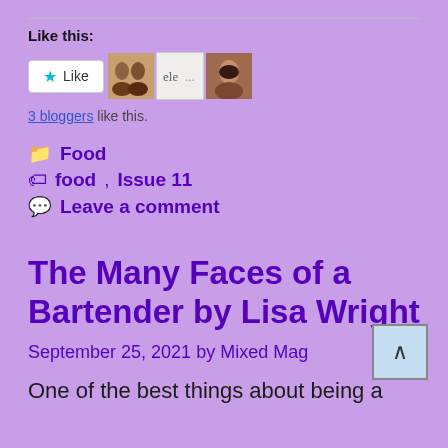Like this:
[Figure (other): Like button with star icon and three blogger avatars]
3 bloggers like this.
Food
food, Issue 11
Leave a comment
The Many Faces of a Bartender by Lisa Wright
September 25, 2021 by Mixed Mag
One of the best things about being a